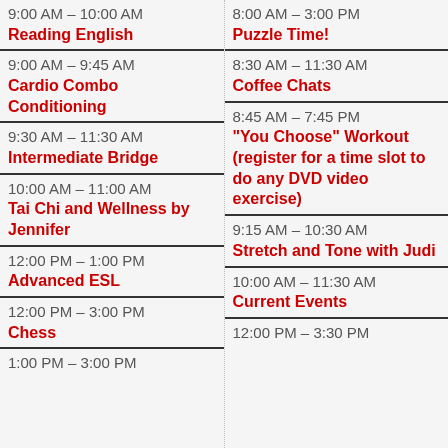| Time | Activity | Time | Activity |
| --- | --- | --- | --- |
| 9:00 AM – 10:00 AM (partial) | Reading English | 8:00 AM – 3:00 PM | Puzzle Time! |
| 9:00 AM – 9:45 AM | Cardio Combo Conditioning | 8:30 AM – 11:30 AM | Coffee Chats |
| 9:30 AM – 11:30 AM | Intermediate Bridge | 8:45 AM – 7:45 PM | "You Choose" Workout (register for a time slot to do any DVD video exercise) |
| 10:00 AM – 11:00 AM | Tai Chi and Wellness by Jennifer | 9:15 AM – 10:30 AM | Stretch and Tone with Judi |
| 12:00 PM – 1:00 PM | Advanced ESL | 10:00 AM – 11:30 AM | Current Events |
| 12:00 PM – 3:00 PM | Chess | 12:00 PM – 3:30 PM |  |
| 1:00 PM – 3:00 PM |  |  |  |